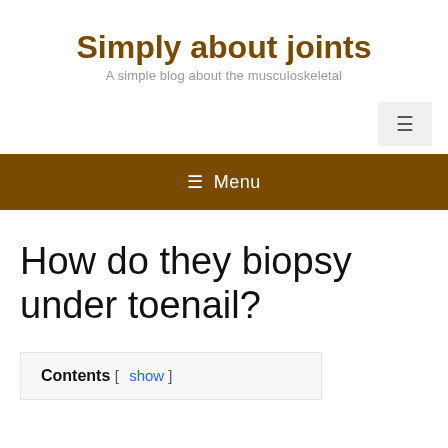Simply about joints
A simple blog about the musculoskeletal
[Figure (other): Hamburger menu button icon (three horizontal lines) in a light grey box, positioned top right]
≡ Menu
How do they biopsy under toenail?
Contents [ show ]